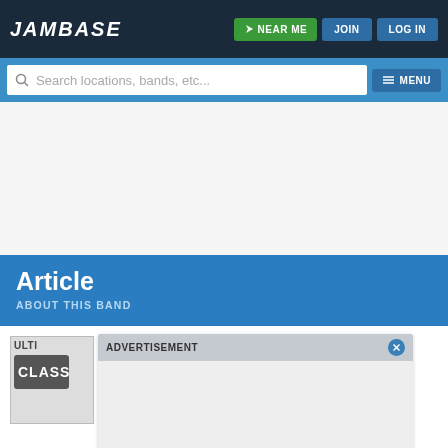JamBase
[Figure (screenshot): JamBase website navigation bar with logo, NEAR ME button, JOIN button, and LOG IN button on dark navy background]
[Figure (screenshot): Search bar with placeholder 'Search locations, bands, etc...' and MENU button on blue background]
Article
ABOUT THIS BAND
[Figure (screenshot): Advertisement overlay with ADVERTISEMENT label and close button, overlaying band logo area with partially visible 'ULTI' and 'CLASS' text]